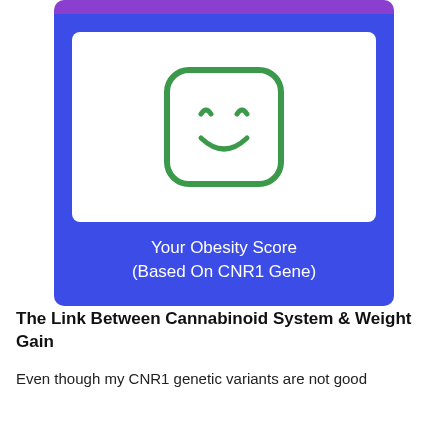[Figure (illustration): A card graphic with a purple top bar, blue background, white inner box containing a green rounded-square smiley face icon, and white text reading 'Your Obesity Score (Based On CNR1 Gene)']
The Link Between Cannabinoid System & Weight Gain
Even though my CNR1 genetic variants are not good